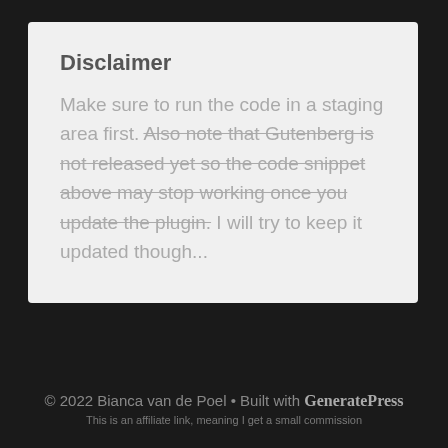Disclaimer
Make sure to run the code in a staging area first. Also note that Gutenberg is not released yet so the code snippet above may stop working once you update the plugin. I will try to keep it updated though...
© 2022 Bianca van de Poel • Built with GeneratePress
This is an affiliate link, meaning I get a small commission